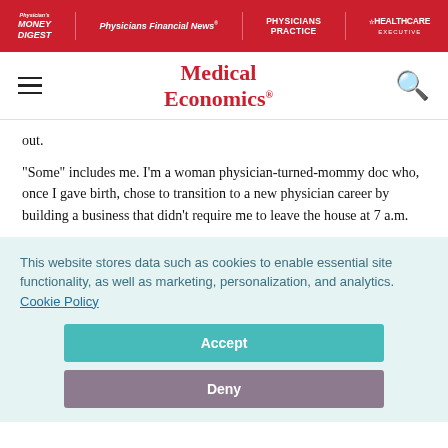Physician's Money Digest | Physicians Financial News | PHYSICIANS PRACTICE | HEALTHCARE EXECUTIVE
Medical Economics
out.
"Some" includes me. I'm a woman physician-turned-mommy doc who, once I gave birth, chose to transition to a new physician career by building a business that didn't require me to leave the house at 7 a.m.
This website stores data such as cookies to enable essential site functionality, as well as marketing, personalization, and analytics. Cookie Policy
Accept
Deny